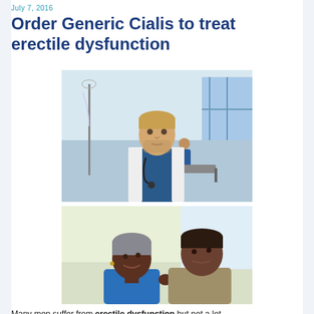July 7, 2016
Order Generic Cialis to treat erectile dysfunction
[Figure (photo): Male doctor in white coat with stethoscope standing in a hospital ward, other medical staff visible in background]
[Figure (photo): Elderly African American couple smiling and looking at each other affectionately]
Many men suffer from erectile dysfunction but not a lot...